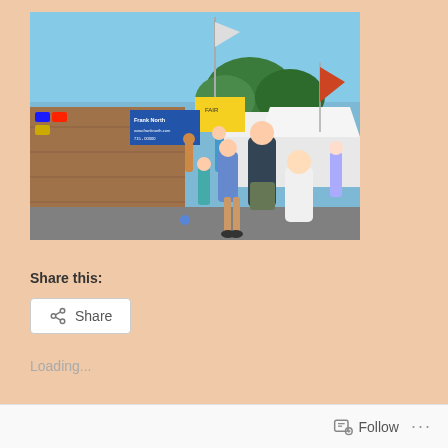[Figure (photo): Outdoor festival or fair scene with crowd of people walking on a street. A large wooden booth/stand is prominent on the left with a blue sign reading 'Frank North'. White tent canopies visible in the background along with trees and a blue sky. Various people including children are visible in the foreground.]
Share this:
Share
Loading...
Follow ...